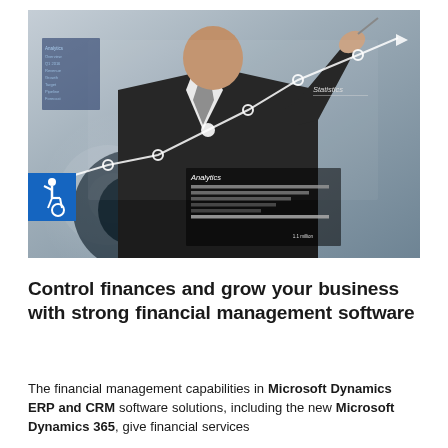[Figure (photo): Business professional in dark suit touching/drawing an upward trending line chart on a transparent digital screen, with analytics panels visible. Blue accessibility icon badge in lower left of image.]
Control finances and grow your business with strong financial management software
The financial management capabilities in Microsoft Dynamics ERP and CRM software solutions, including the new Microsoft Dynamics 365, give financial services